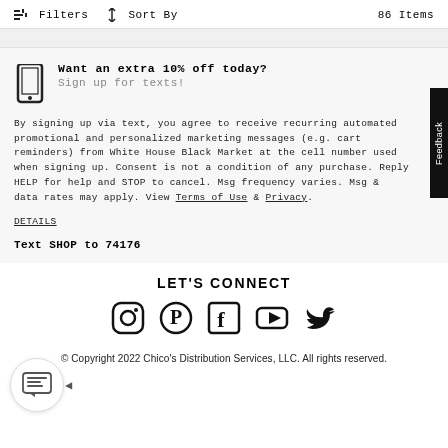Filters  Sort By  86 Items
Want an extra 10% off today? Sign up for texts!
By signing up via text, you agree to receive recurring automated promotional and personalized marketing messages (e.g. cart reminders) from White House Black Market at the cell number used when signing up. Consent is not a condition of any purchase. Reply HELP for help and STOP to cancel. Msg frequency varies. Msg & data rates may apply. View Terms of Use & Privacy.
DETAILS
Text SHOP to 74176
LET'S CONNECT
[Figure (illustration): Social media icons: Instagram, Pinterest, Facebook, YouTube, Twitter]
© Copyright 2022 Chico's Distribution Services, LLC. All rights reserved.